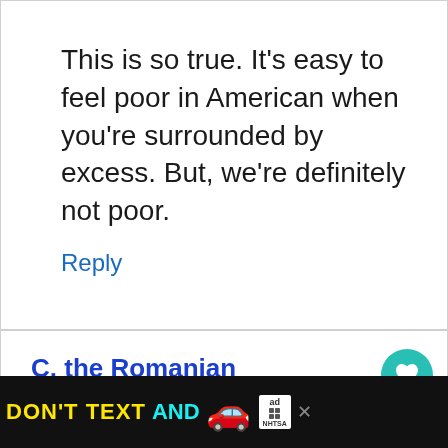This is so true. It's easy to feel poor in American when you're surrounded by excess. But, we're definitely not poor.
Reply
C. the Romanian
September 10, 2013 at 5:53 am
[Figure (screenshot): Ad banner at bottom: DON'T TEXT AND drive safety ad with car emoji, ad choice icon, and NHTSA logo on black background]